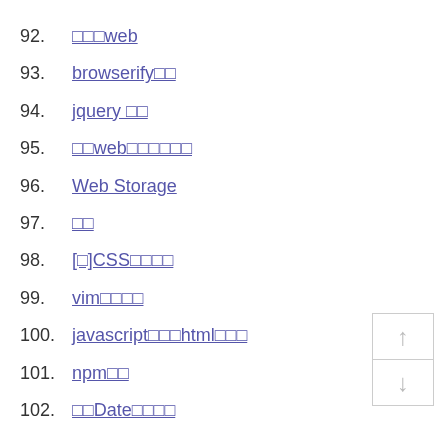92. □□□web
93. browserify□□
94. jquery □□
95. □□web□□□□□□
96. Web Storage
97. □□
98. [□]CSS□□□□
99. vim□□□□
100. javascript□□□html□□□
101. npm□□
102. □□Date□□□□□